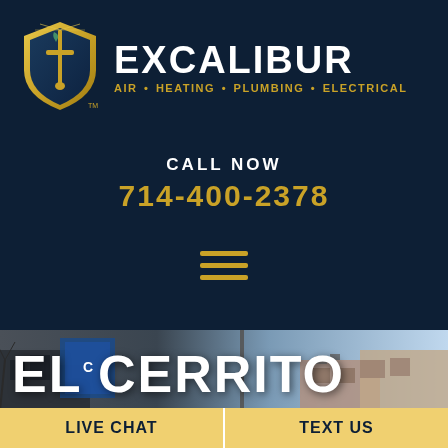[Figure (logo): Excalibur shield logo with sword and wrench, gold and teal on dark navy background]
EXCALIBUR
AIR • HEATING • PLUMBING • ELECTRICAL
CALL NOW
714-400-2378
[Figure (other): Hamburger menu icon (three gold horizontal lines)]
[Figure (photo): Street-level photo of El Cerrito showing buildings and sky]
EL CERRITO
LIVE CHAT
TEXT US